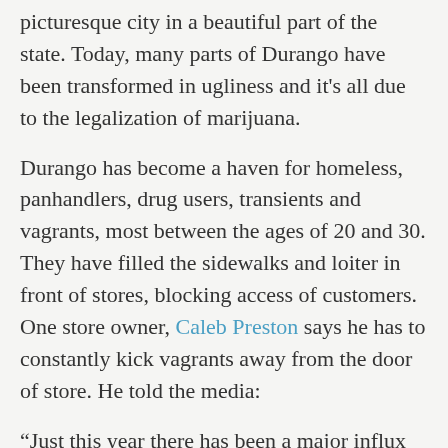picturesque city in a beautiful part of the state. Today, many parts of Durango have been transformed in ugliness and it's all due to the legalization of marijuana.
Durango has become a haven for homeless, panhandlers, drug users, transients and vagrants, most between the ages of 20 and 30. They have filled the sidewalks and loiter in front of stores, blocking access of customers. One store owner, Caleb Preston says he has to constantly kick vagrants away from the door of store. He told the media:
“Just this year there has been a major influx of people between 20 to 30 who are just hanging out on the streets. The problem is while many